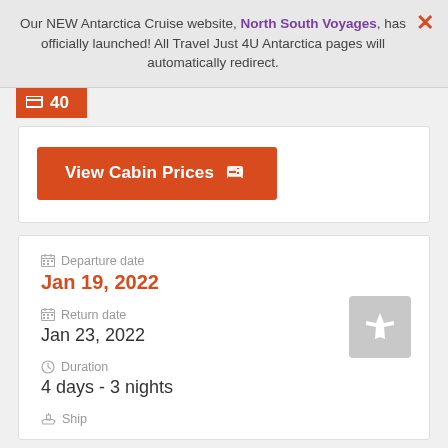Our NEW Antarctica Cruise website, North South Voyages, has officially launched! All Travel Just 4U Antarctica pages will automatically redirect.
40
View Cabin Prices
Departure date: Jan 19, 2022
Return date: Jan 23, 2022
Duration: 4 days - 3 nights
Ship